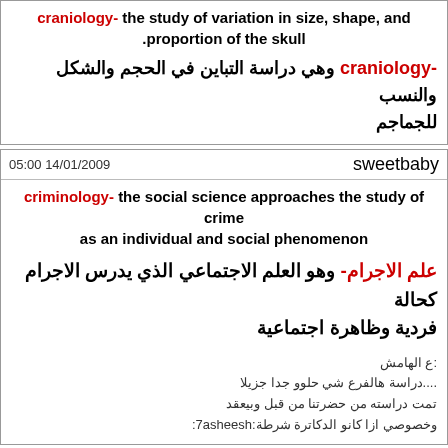craniology- the study of variation in size, shape, and proportion of the skull
craniology- وهي دراسة التباين في الحجم والشكل والنسب للجماجم
sweetbaby   05:00 14/01/2009
criminology- the social science approaches the study of crime as an individual and social phenomenon
علم الاجرام- وهو العلم الاجتماعي الذي يدرس الاجرام كحالة فردية وظاهرة اجتماعية
ع الهامش:
دراسة هالفرع شي حلوو جدا جزيلا....
تمت دراسته من حضرتنا من قبل وبيعقد
وخصوصي ازا كانو الدكاترة شرطة:7asheesh:
sweetbaby   05:10 14/01/2009